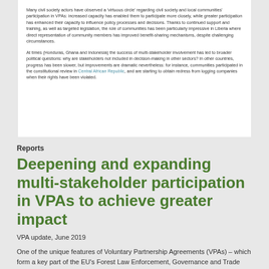Many civil society actors have observed a 'virtuous circle' regarding civil society and local communities' participation in VPAs: increased capacity has enabled them to participate more closely, while greater participation has enhanced their capacity to influence policy processes and decisions. Thanks to continued support and training, as well as targeted legislation, the role of communities has been particularly impressive in Liberia where direct representation of community members has improved benefit-sharing mechanisms, despite challenging circumstances.
At times (Honduras, Ghana and Indonesia) the success of multi-stakeholder involvement has led to broader political questions: why are stakeholders not included in decision-making in other sectors? In other countries, progress has been slower, but improvements are dramatic nevertheless: for instance, communities participated in the constitutional review in Central African Republic, and are starting to obtain redress from logging companies when their rights have been violated.
Reports
Deepening and expanding multi-stakeholder participation in VPAs to achieve greater impact
VPA update, June 2019
One of the unique features of Voluntary Partnership Agreements (VPAs) – which form a key part of the EU's Forest Law Enforcement, Governance and Trade (FLEGT) Action Plan – is that they allow a variety of actors (government, private sector, civil society and forest communities) to discuss how forests should be